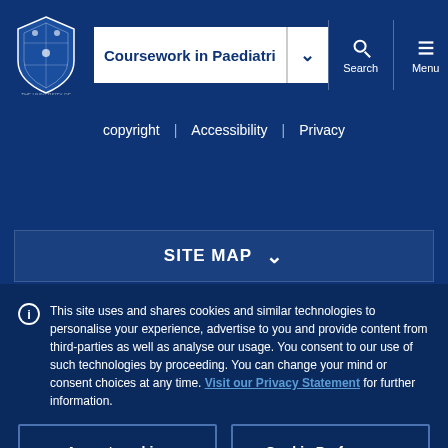Coursework in Paediatri [dropdown] | Search | Menu
copyright | Accessibility | Privacy
SITE MAP
This site uses and shares cookies and similar technologies to personalise your experience, advertise to you and provide content from third-parties as well as analyse our usage. You consent to our use of such technologies by proceeding. You can change your mind or consent choices at any time. Visit our Privacy Statement for further information.
Accept cookies | Cookie Preferences